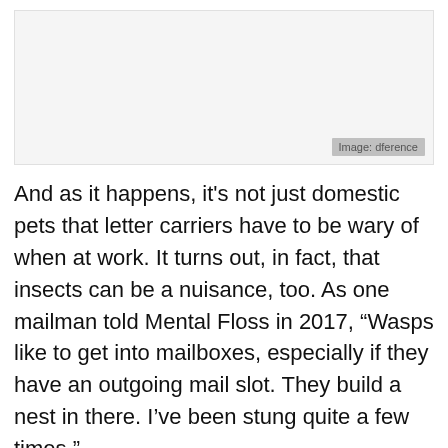[Figure (photo): A mostly white/blank image area with a gray caption label in the bottom-right corner reading 'Image: dference']
And as it happens, it's not just domestic pets that letter carriers have to be wary of when at work. It turns out, in fact, that insects can be a nuisance, too. As one mailman told Mental Floss in 2017, “Wasps like to get into mailboxes, especially if they have an outgoing mail slot. They build a nest in there. I’ve been stung quite a few times.”